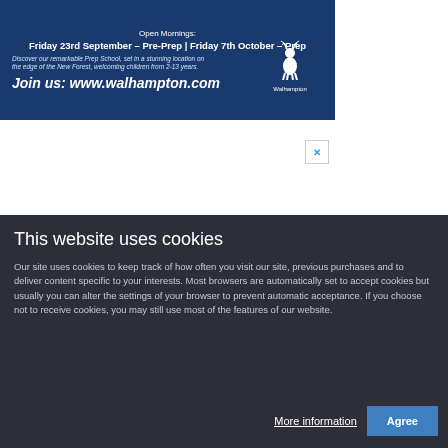[Figure (infographic): Walhampton School advertisement banner with dark blue background. Open Mornings: Friday 23rd September – Pre-Prep | Friday 7th October – Prep. Discover our remarkable Prep School, set in a stunning location on the edge of the New Forest, welcoming children from 2-13 years. Join us: www.walhampton.com. White deer logo with Walhampton text.]
[Figure (infographic): Caldicott school advertisement banner with dark golden background, school shield logo on left, Caldicott name in gold, 'A day & boarding prep school for boys' text. Close X button in top right corner.]
This website uses cookies
Our site uses cookies to keep track of how often you visit our site, previous purchases and to deliver content specific to your interests. Most browsers are automatically set to accept cookies but usually you can alter the settings of your browser to prevent automatic acceptance. If you choose not to receive cookies, you may still use most of the features of our website.
More information
Agree